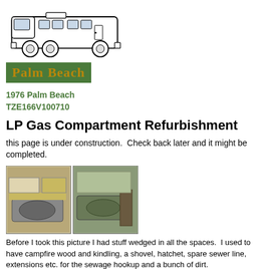[Figure (illustration): Line drawing/illustration of a Class A motorhome RV from the side view]
[Figure (logo): Palm Beach brand logo - green rectangle with gold serif text reading 'Palm Beach']
1976 Palm Beach
TZE166V100710
LP Gas Compartment Refurbishment
this page is under construction.  Check back later and it might be completed.
[Figure (photo): Two side-by-side photos showing the LP gas compartment area on the side of the 1976 Palm Beach motorhome, showing tanks and compartment space]
Before I took this picture I had stuff wedged in all the spaces.  I used to have campfire wood and kindling, a shovel, hatchet, spare sewer line, extensions etc. for the sewage hookup and a bunch of dirt.